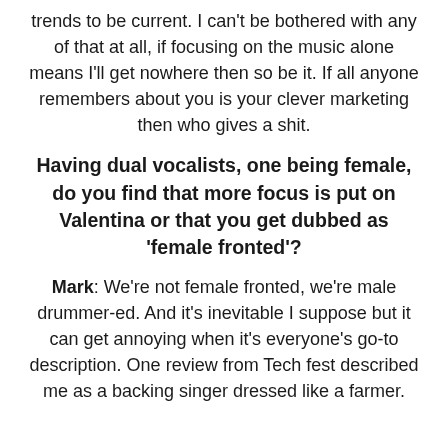trends to be current. I can't be bothered with any of that at all, if focusing on the music alone means I'll get nowhere then so be it. If all anyone remembers about you is your clever marketing then who gives a shit.
Having dual vocalists, one being female, do you find that more focus is put on Valentina or that you get dubbed as 'female fronted'?
Mark: We're not female fronted, we're male drummer-ed. And it's inevitable I suppose but it can get annoying when it's everyone's go-to description. One review from Tech fest described me as a backing singer dressed like a farmer.